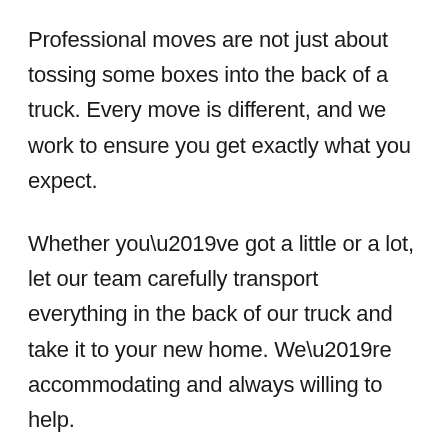Professional moves are not just about tossing some boxes into the back of a truck. Every move is different, and we work to ensure you get exactly what you expect.
Whether you’ve got a little or a lot, let our team carefully transport everything in the back of our truck and take it to your new home. We’re accommodating and always willing to help.
Here’s a taster of our most popular